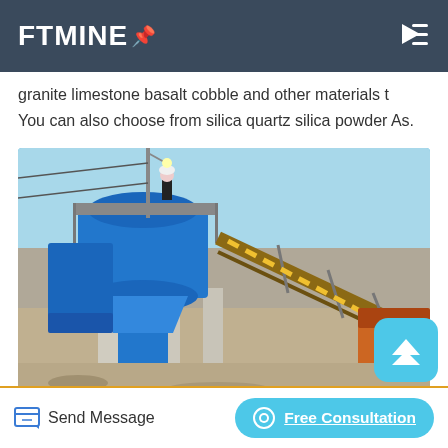FTMINE
granite limestone basalt cobble and other materials t
You can also choose from silica quartz silica powder As.
[Figure (photo): Industrial mining/crushing equipment with large blue cone crusher and conveyor belts at a mining site, with a worker standing on top of the machine against a blue sky background.]
Send Message | Free Consultation